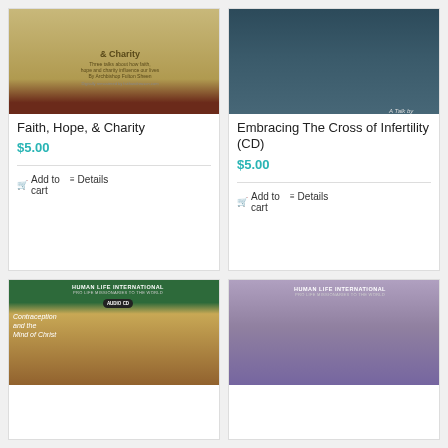[Figure (illustration): Book cover for Faith, Hope & Charity by Archbishop Fulton Sheen]
Faith, Hope, & Charity
$5.00
Add to cart
Details
[Figure (illustration): CD cover for Embracing The Cross of Infertility by Marie Meaney, Ph.D.]
Embracing The Cross of Infertility (CD)
$5.00
Add to cart
Details
[Figure (illustration): Human Life International Audio CD cover for Contraception and the Mind of Christ]
[Figure (illustration): Human Life International CD cover with angel image]